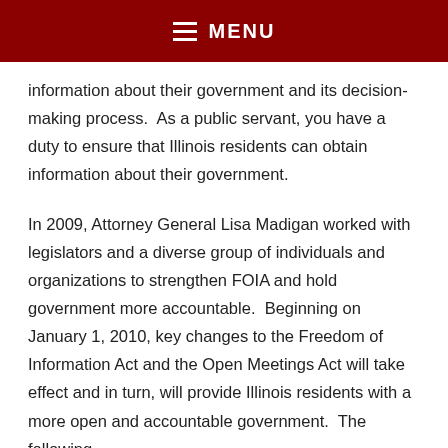MENU
information about their government and its decision-making process.  As a public servant, you have a duty to ensure that Illinois residents can obtain information about their government.
In 2009, Attorney General Lisa Madigan worked with legislators and a diverse group of individuals and organizations to strengthen FOIA and hold government more accountable.  Beginning on January 1, 2010, key changes to the Freedom of Information Act and the Open Meetings Act will take effect and in turn, will provide Illinois residents with a more open and accountable government.  The following